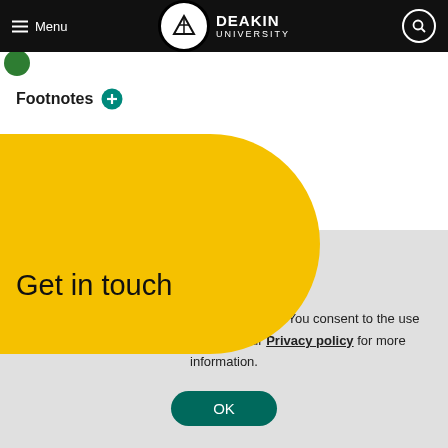Menu | Deakin University
[Figure (logo): Deakin University logo with shield icon in white circle on black nav bar]
Footnotes
[Figure (illustration): Yellow rounded blob shape used as decorative background element]
Get in touch
We use cookies to improve your experience. You consent to the use of our cookies if you proceed. Visit our Privacy policy for more information.
OK